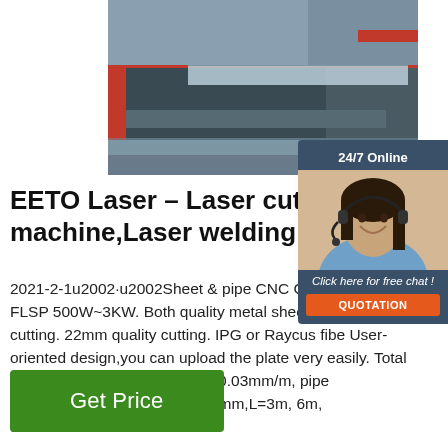[Figure (photo): CNC laser cutting machine in industrial setting, red frame visible, metal sheet/pipe on machine bed]
[Figure (photo): Customer service agent (woman with headset) with 24/7 Online chat widget overlay, orange QUOTATION button]
EETO Laser – Laser cutting machine,Laser welding ma
2021-2-1u2002·u2002Sheet & pipe CNC Cutting Machine FLSP 500W~3KW. Both quality metal sheet& metal tube cutting. 22mm quality cutting. IPG or Raycus fibe User-oriented design,you can upload the plate very easily. Total weight over 6T, po accuracy, ±0.03mm/m, pipe diemensions: diameter 20-200mm,L=3m, 6m, 3000x1500mm ...
Get Price